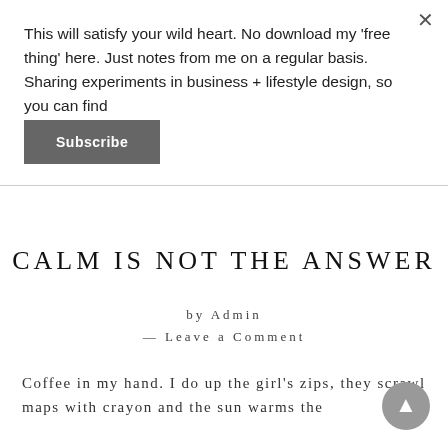This will satisfy your wild heart. No download my 'free thing' here. Just notes from me on a regular basis. Sharing experiments in business + lifestyle design, so you can find
Subscribe
CALM IS NOT THE ANSWER
by Admin
— Leave a Comment
Coffee in my hand. I do up the girl's zips, they scrawl maps with crayon and the sun warms the